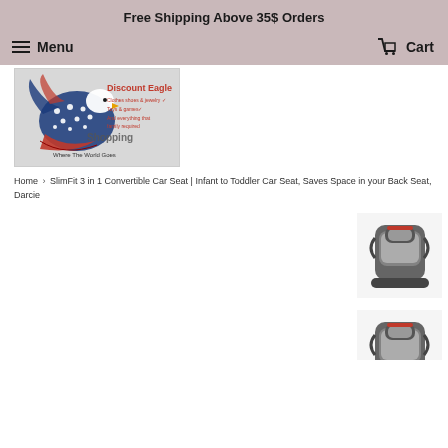Free Shipping Above 35$ Orders
Menu   Cart
[Figure (logo): Discount Eagle logo with American flag eagle graphic and text: Discount Eagle, Clothes shoes & jewelry, Toys & games, And everything that family required, Shopping, Where The World Goes]
Home › SlimFit 3 in 1 Convertible Car Seat | Infant to Toddler Car Seat, Saves Space in your Back Seat, Darcie
[Figure (photo): Graco SlimFit 3 in 1 Convertible Car Seat in Darcie color - gray and black car seat, front view]
[Figure (photo): Graco SlimFit 3 in 1 Convertible Car Seat in Darcie color - second angle view]